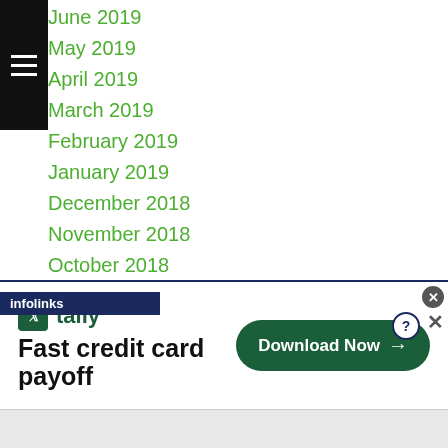June 2019
May 2019
April 2019
March 2019
February 2019
January 2019
December 2018
November 2018
October 2018
September 2018
August 2018
July 2018
June 2018
May 2018
April 2018
March 2018
February 2018
[Figure (screenshot): Tally app advertisement banner: 'Fast credit card payoff' with Download Now button]